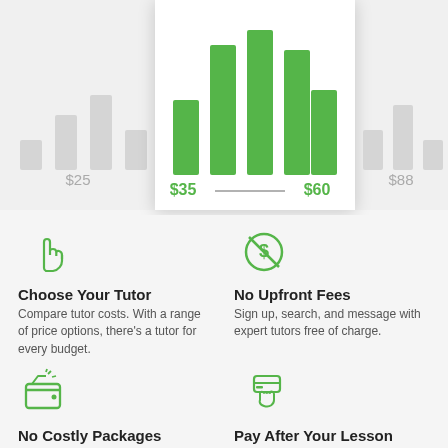[Figure (bar-chart): Bar chart showing tutor price ranges. Center highlighted card shows $35-$60 range with green bars. Flanking cards show grey bars at $25 and $88.]
Choose Your Tutor
Compare tutor costs. With a range of price options, there's a tutor for every budget.
No Upfront Fees
Sign up, search, and message with expert tutors free of charge.
No Costly Packages
Only pay for the time you
Pay After Your Lesson
Get the help you need first.